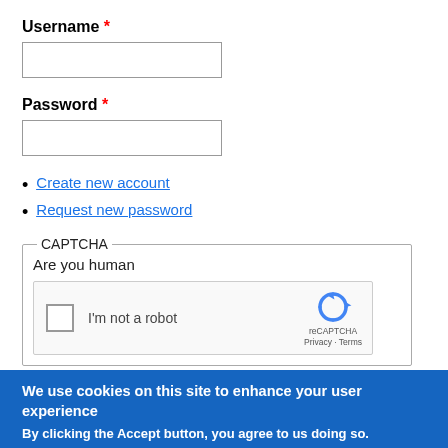Username *
Password *
Create new account
Request new password
[Figure (screenshot): CAPTCHA section with legend 'CAPTCHA', label 'Are you human', and a reCAPTCHA widget showing a checkbox, 'I'm not a robot' text, and the reCAPTCHA logo with 'Privacy - Terms' text.]
We use cookies on this site to enhance your user experience
By clicking the Accept button, you agree to us doing so.